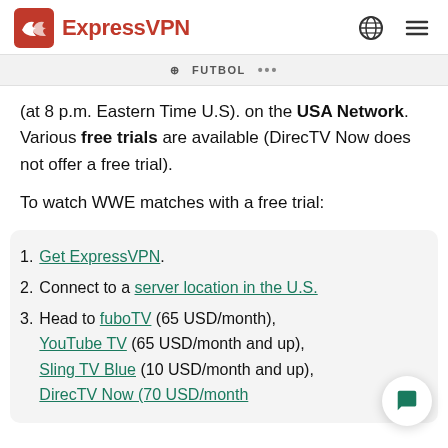ExpressVPN
⊕ FUTBOL ...
(at 8 p.m. Eastern Time U.S). on the USA Network. Various free trials are available (DirecTV Now does not offer a free trial).
To watch WWE matches with a free trial:
1. Get ExpressVPN.
2. Connect to a server location in the U.S.
3. Head to fuboTV (65 USD/month), YouTube TV (65 USD/month and up), Sling TV Blue (10 USD/month and up), DirecTV Now (70 USD/month) ...